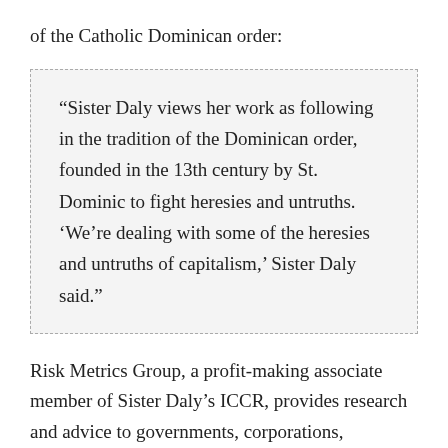of the Catholic Dominican order:
“Sister Daly views her work as following in the tradition of the Dominican order, founded in the 13th century by St. Dominic to fight heresies and untruths. ‘We’re dealing with some of the heresies and untruths of capitalism,’ Sister Daly said.”
Risk Metrics Group, a profit-making associate member of Sister Daly’s ICCR, provides research and advice to governments, corporations,